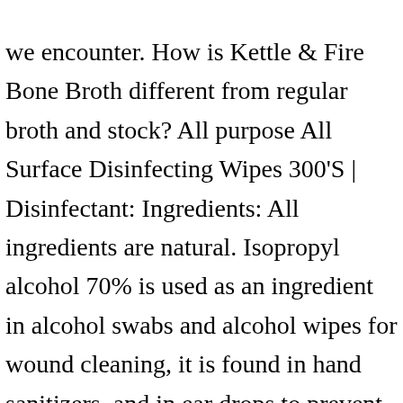we encounter. How is Kettle & Fire Bone Broth different from regular broth and stock? All purpose All Surface Disinfecting Wipes 300'S | Disinfectant: Ingredients: All ingredients are natural. Isopropyl alcohol 70% is used as an ingredient in alcohol swabs and alcohol wipes for wound cleaning, it is found in hand sanitizers, and in ear drops to prevent swimmer's ear. The aloe vera extract used in our Hero Wipes is a safe ingredient. So safe it is used with food : Sodium Citrate : Ingredient found in common fruits. firefighters after exposure to hazardous